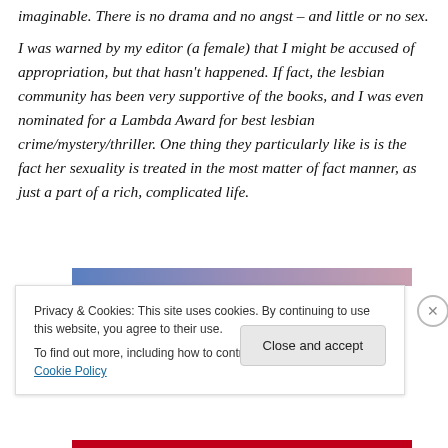imaginable. There is no drama and no angst – and little or no sex. I was warned by my editor (a female) that I might be accused of appropriation, but that hasn't happened. If fact, the lesbian community has been very supportive of the books, and I was even nominated for a Lambda Award for best lesbian crime/mystery/thriller. One thing they particularly like is is the fact her sexuality is treated in the most matter of fact manner, as just a part of a rich, complicated life.
[Figure (other): Horizontal gradient bar transitioning from blue to purple to mauve/pink]
Privacy & Cookies: This site uses cookies. By continuing to use this website, you agree to their use. To find out more, including how to control cookies, see here: Cookie Policy
Close and accept